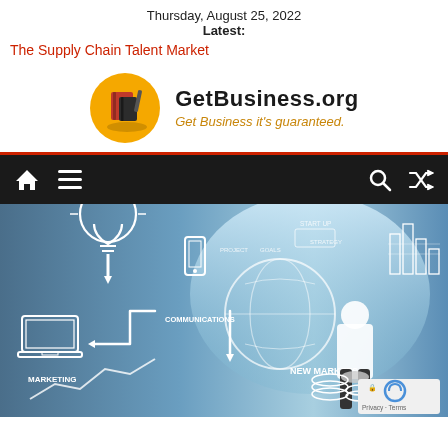Thursday, August 25, 2022
Latest:
The Supply Chain Talent Market
[Figure (logo): GetBusiness.org logo with golden circle icon containing notebook and pen, site name in bold black and tagline 'Get Business it's guaranteed.' in orange italic]
[Figure (screenshot): Navigation bar with black background and red top border, showing home icon, hamburger menu icon on left, and search and shuffle icons on right]
[Figure (photo): Hero image showing a businessman from behind looking at a business strategy whiteboard with diagrams including marketing, communications, new markets, project, goals, strategy, start up labels, light bulb, laptop, phone, arrows, globe, charts sketched in white chalk style on blue background]